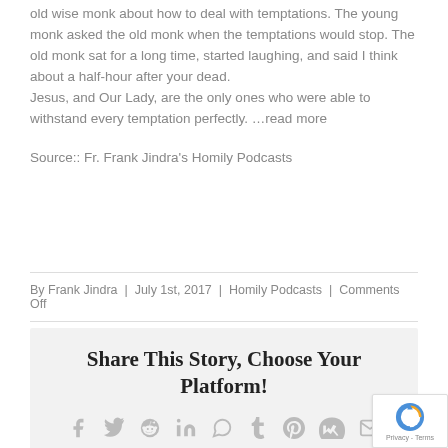old wise monk about how to deal with temptations. The young monk asked the old monk when the temptations would stop. The old monk sat for a long time, started laughing, and said I think about a half-hour after your dead.
Jesus, and Our Lady, are the only ones who were able to withstand every temptation perfectly. …read more
Source:: Fr. Frank Jindra's Homily Podcasts
By Frank Jindra | July 1st, 2017 | Homily Podcasts | Comments Off
Share This Story, Choose Your Platform!
[Figure (infographic): Social media share icons: Facebook, Twitter, Reddit, LinkedIn, WhatsApp, Tumblr, Pinterest, VK, Email]